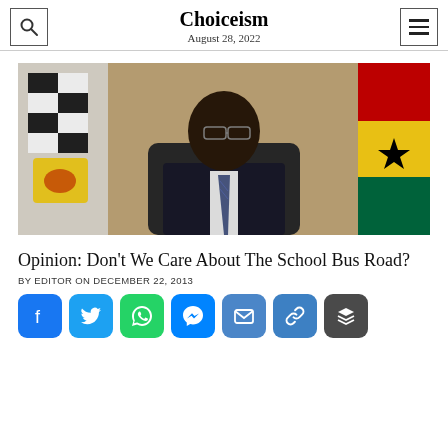Choiceism
August 28, 2022
[Figure (photo): A man in a dark suit and blue striped tie, wearing glasses, seated at a desk in an official setting with flags (black/white/yellow and red/yellow/black/red) in the background.]
Opinion: Don't We Care About The School Bus Road?
BY EDITOR ON DECEMBER 22, 2013
[Figure (other): Social media sharing icons: Facebook, Twitter, WhatsApp, Messenger, Email, Link, Buffer]